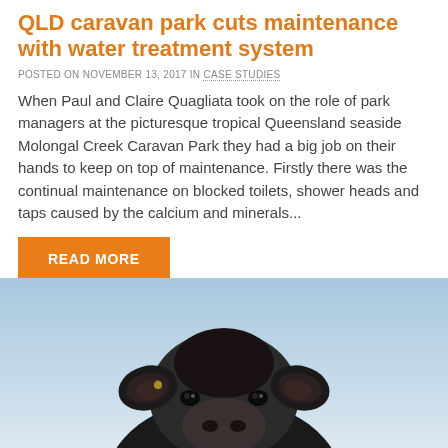QLD caravan park cuts maintenance with water treatment system
POSTED ON NOVEMBER 13, 2017 IN CASE STUDIES
When Paul and Claire Quagliata took on the role of park managers at the picturesque tropical Queensland seaside Molongal Creek Caravan Park they had a big job on their hands to keep on top of maintenance. Firstly there was the continual maintenance on blocked toilets, shower heads and taps caused by the calcium and minerals...
READ MORE
[Figure (photo): Close-up photo of a black Angus cow facing the camera against a light blue sky background]